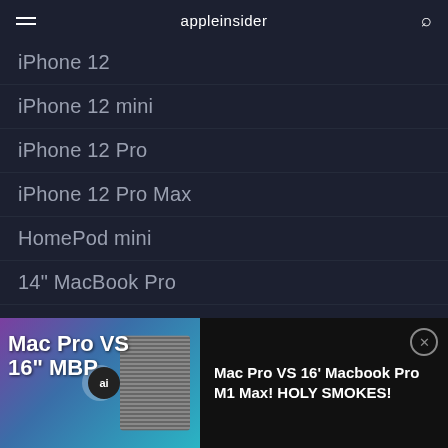appleinsider
iPhone 12
iPhone 12 mini
iPhone 12 Pro
iPhone 12 Pro Max
HomePod mini
14" MacBook Pro
Apple Watch 6
iPad Air
More
[Figure (screenshot): Ad banner for video: Mac Pro VS 16' Macbook Pro M1 Max! HOLY SMOKES! with thumbnail showing Mac Pro tower and MacBook Pro M1 Max]
Mac Pro VS 16' Macbook Pro M1 Max! HOLY SMOKES!